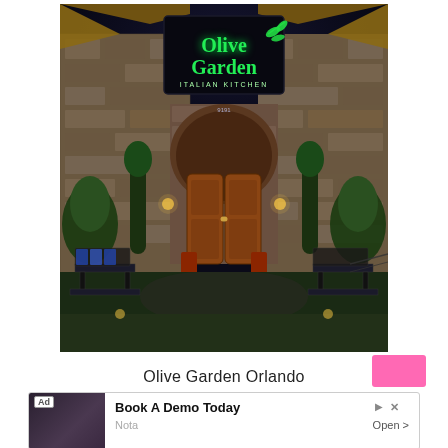[Figure (photo): Night-time exterior photo of an Olive Garden Italian Kitchen restaurant. Stone facade with illuminated green neon 'Olive Garden Italian Kitchen' sign at top center. Arched wooden entrance doors in center. Decorative iron benches and potted trees flanking the entrance. Green landscaping visible on sides.]
Olive Garden Orlando
[Figure (other): Advertisement banner: 'Ad' label on left with a photo of person at table, text 'Book A Demo Today' in bold, 'Nota' in gray, 'Open >' on right. Play and close icons top right.]